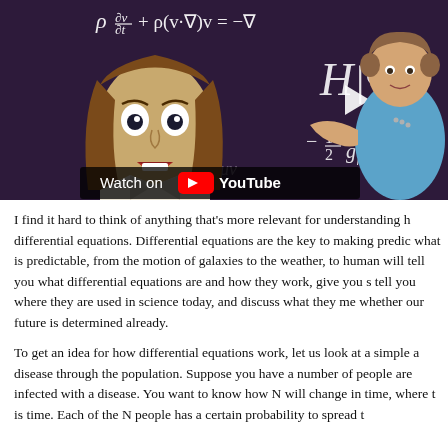[Figure (screenshot): YouTube video thumbnail showing a cartoon figure of a historical person with wide eyes and a teacher (woman in blue sleeveless top) in front of a chalkboard with physics/math equations including Navier-Stokes, Schrodinger, and Einstein field equations. A 'Watch on YouTube' button overlay is visible.]
I find it hard to think of anything that's more relevant for understanding h differential equations. Differential equations are the key to making predic what is predictable, from the motion of galaxies to the weather, to human will tell you what differential equations are and how they work, give you s tell you where they are used in science today, and discuss what they me whether our future is determined already.
To get an idea for how differential equations work, let us look at a simple a disease through the population. Suppose you have a number of people are infected with a disease. You want to know how N will change in time, where t is time. Each of the N people has a certain probability to spread t